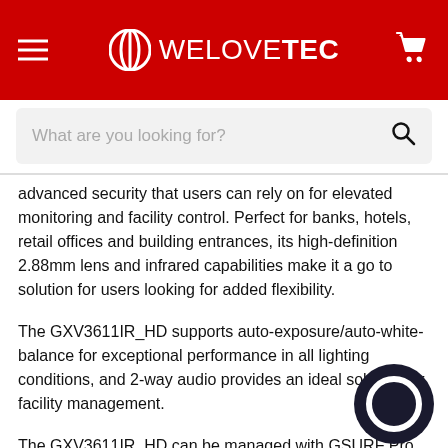WELOVETEC
What are you looking for?
advanced security that users can rely on for elevated monitoring and facility control. Perfect for banks, hotels, retail offices and building entrances, its high-definition 2.88mm lens and infrared capabilities make it a go to solution for users looking for added flexibility.
The GXV3611IR_HD supports auto-exposure/auto-white-balance for exceptional performance in all lighting conditions, and 2-way audio provides an ideal solution for facility management.
The GXV3611IR_HD can be managed with GSURF Pro (Grandstream’s Free Video Management Software that allows simultaneous control of up to 72 cameras) along with other ONVIF-complaint video management systems.